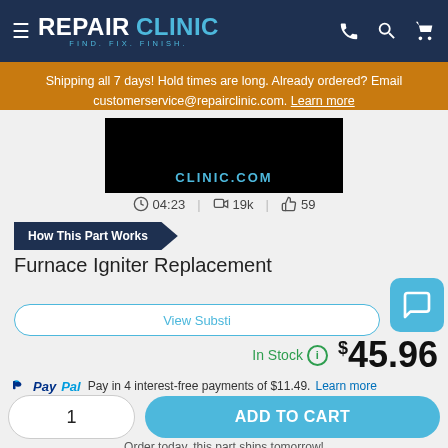REPAIR CLINIC - FIND. FIX. FINISH.
Shipping all 7 days! Hold times are long. Already ordered? Email customerservice@repairclinic.com. Learn more
[Figure (screenshot): Video thumbnail showing clinic.com text on dark background]
04:23  |  19k  |  59
How This Part Works
Furnace Igniter Replacement
In Stock  $45.96
PayPal Pay in 4 interest-free payments of $11.49. Learn more
1
ADD TO CART
Order today, this part ships tomorrow!